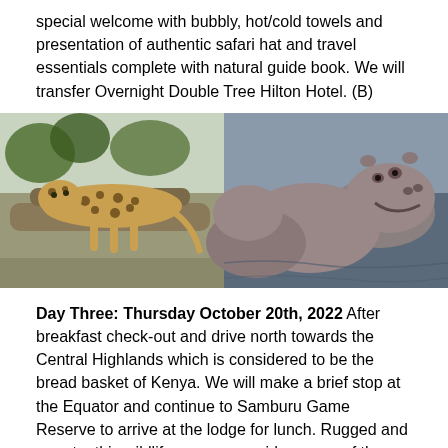special welcome with bubbly, hot/cold towels and presentation of authentic safari hat and travel essentials complete with natural guide book. We will transfer Overnight Double Tree Hilton Hotel. (B)
[Figure (photo): Two side-by-side wildlife photos: left shows a leopard resting on a tree branch; right shows hippopotamuses close together in water.]
Day Three: Thursday October 20th, 2022  After breakfast check-out and drive north towards the Central Highlands which is considered to be the bread basket of Kenya. We will make a brief stop at the Equator and continue to Samburu Game Reserve to arrive at the lodge for lunch. Rugged and remote, this wildlife reserve provides some of the best and most colourful game viewing in the country. After lunch at the lodge we will depart for our first late afternoon game viewing drive of the tour. At sunset return to our lodge for dinner and overnight at Samburu Sopa Lodge. (B)(L)(D)